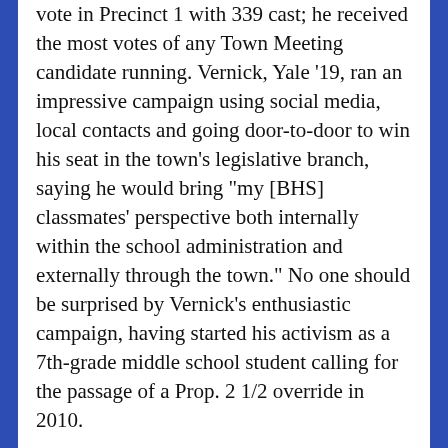vote in Precinct 1 with 339 cast; he received the most votes of any Town Meeting candidate running. Vernick, Yale '19, ran an impressive campaign using social media, local contacts and going door-to-door to win his seat in the town's legislative branch, saying he would bring "my [BHS] classmates' perspective both internally within the school administration and externally through the town." No one should be surprised by Vernick's enthusiastic campaign, having started his activism as a 7th-grade middle school student calling for the passage of a Prop. 2 1/2 override in 2010.
Five incumbents did not retain their seats including a pair in both precincts 1 and 6, while new members will be taking their place in the 290 member body including Kristen Zecchi in